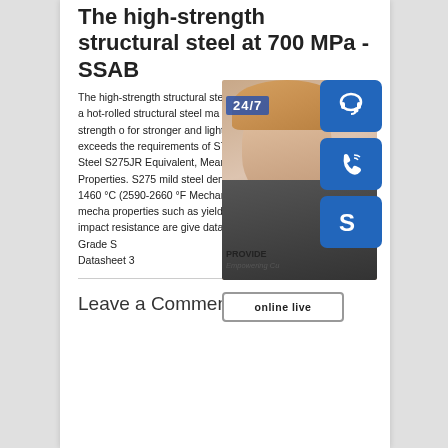The high-strength structural steel at 700 MPa - SSAB
The high-strength structural steel at 700 MPa Strenx 700 MC is a hot-rolled structural steel made for forming, with a minimum yield strength of for stronger and lighter structures. Strenx meets or exceeds the requirements of S7 EN 10149-2. EN10025 S275 Steel S275JR Equivalent, Meaning S275 Steel Propertie Properties. S275 mild steel density:7.85 g Melting point:1420-1460 °C (2590-2660 °F Mechanical Properties. S275 steel mecha properties such as yield strength, tensile elongation and impact resistance are give datasheet below. Yield Strength. Grade S Datasheet 3
[Figure (photo): Customer service representative woman with headset, with 24/7 label overlay and PROVIDE Empowering Customers text, alongside blue icon buttons for headset, phone, and Skype, and an 'online live' button]
Leave a Comment